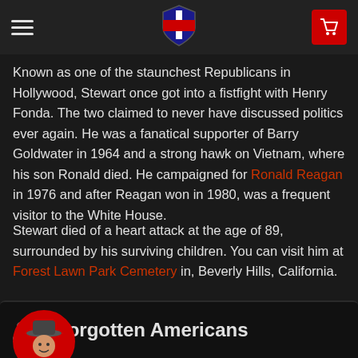Navigation bar with hamburger menu, shield logo, and cart button
Known as one of the staunchest Republicans in Hollywood, Stewart once got into a fistfight with Henry Fonda. The two claimed to never have discussed politics ever again. He was a fanatical supporter of Barry Goldwater in 1964 and a strong hawk on Vietnam, where his son Ronald died. He campaigned for Ronald Reagan in 1976 and after Reagan won in 1980, was a frequent visitor to the White House.
Stewart died of a heart attack at the age of 89, surrounded by his surviving children. You can visit him at Forest Lawn Park Cemetery in, Beverly Hills, California.
Written by Sam Jacobs
Forgotten Americans